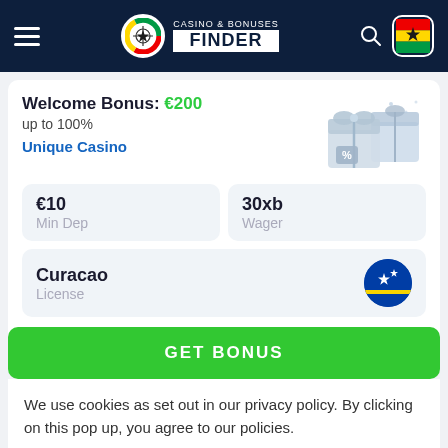Casino & Bonuses Finder
Welcome Bonus: €200 up to 100%
Unique Casino
€10
Min Dep
30xb
Wager
Curacao
License
GET BONUS
We use cookies as set out in our privacy policy. By clicking on this pop up, you agree to our policies.
Read the privacy policy
It's OK For Me